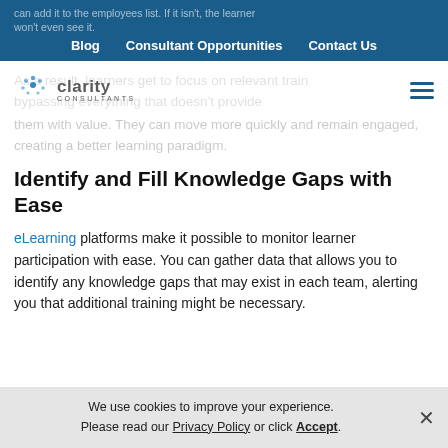can add it to the employees list. If it isn't, the learner won't even see it.
Blog | Consultant Opportunities | Contact Us
[Figure (logo): Clarity Consultants logo with star/dot icon]
As a result, learners get to focus on relevant training, bypassing everything that doesn't provide them with value. They can move more quickly and remain engaged, creating a better learning paradigm.
Identify and Fill Knowledge Gaps with Ease
eLearning platforms make it possible to monitor learner participation with ease. You can gather data that allows you to identify any knowledge gaps that may exist in each team, alerting you that additional training might be necessary.
We use cookies to improve your experience. Please read our Privacy Policy or click Accept.